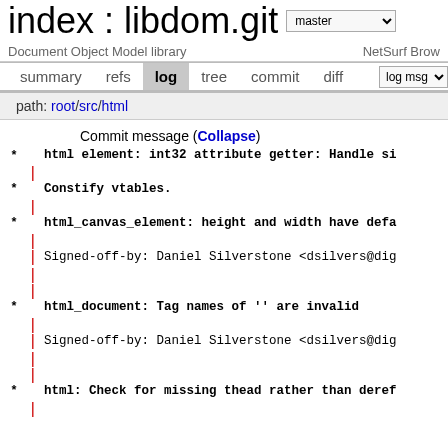index : libdom.git
Document Object Model library  NetSurf Brow...
summary  refs  log  tree  commit  diff  log msg
path: root/src/html
Commit message (Collapse)
* html element: int32 attribute getter: Handle si...
* Constify vtables.
* html_canvas_element: height and width have defa...
Signed-off-by: Daniel Silverstone <dsilvers@dig...
* html_document: Tag names of '' are invalid
Signed-off-by: Daniel Silverstone <dsilvers@dig...
* html: Check for missing thead rather than deref...